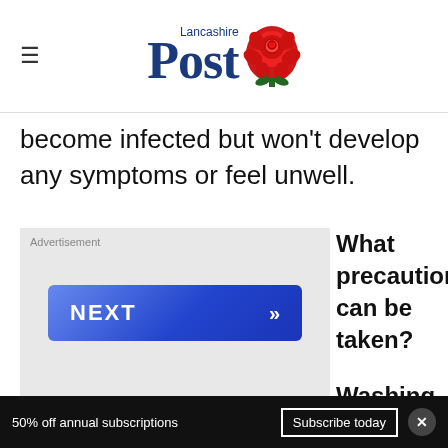Lancashire Post
become infected but won’t develop any symptoms or feel unwell.
[Figure (screenshot): Advertisement area with a blue NEXT button with chevron arrows]
What precautions can be taken?
Washing your hands
50% off annual subscriptions  Subscribe today